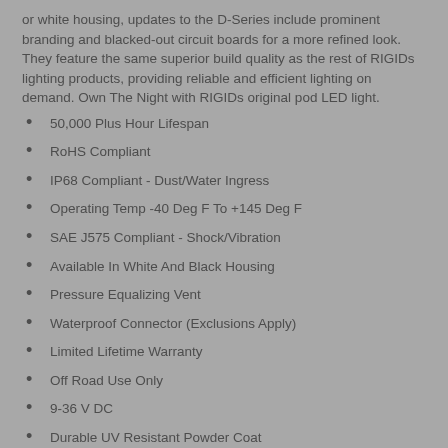or white housing, updates to the D-Series include prominent branding and blacked-out circuit boards for a more refined look. They feature the same superior build quality as the rest of RIGIDs lighting products, providing reliable and efficient lighting on demand. Own The Night with RIGIDs original pod LED light.
50,000 Plus Hour Lifespan
RoHS Compliant
IP68 Compliant - Dust/Water Ingress
Operating Temp -40 Deg F To +145 Deg F
SAE J575 Compliant - Shock/Vibration
Available In White And Black Housing
Pressure Equalizing Vent
Waterproof Connector (Exclusions Apply)
Limited Lifetime Warranty
Off Road Use Only
9-36 V DC
Durable UV Resistant Powder Coat